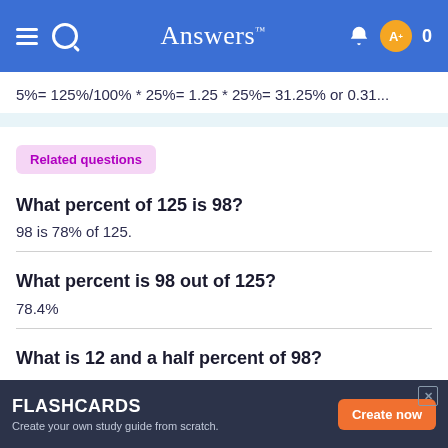Answers
5%= 125%/100% * 25%= 1.25 * 25%= 31.25% or 0.31...
Related questions
What percent of 125 is 98?
98 is 78% of 125.
What percent is 98 out of 125?
78.4%
What is 12 and a half percent of 98?
FLASHCARDS — Create your own study guide from scratch. Create now